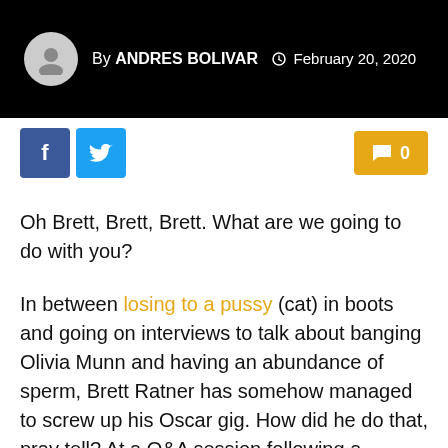By ANDRES BOLIVAR  February 20, 2020
[Figure (other): Social sharing buttons: Facebook (f), Twitter (bird icon), and a comment count button showing 0]
Oh Brett, Brett, Brett. What are we going to do with you?
In between losing to a pussy (cat) in boots and going on interviews to talk about banging Olivia Munn and having an abundance of sperm, Brett Ratner has somehow managed to screw up his Oscar gig. How did he do that, pray tell? At a Q&A session following a screening of his latest movie Tower Heist, Sir Ratner of Douchery was asked by the moderator whether he prepares and rehearses with his actors before shooting